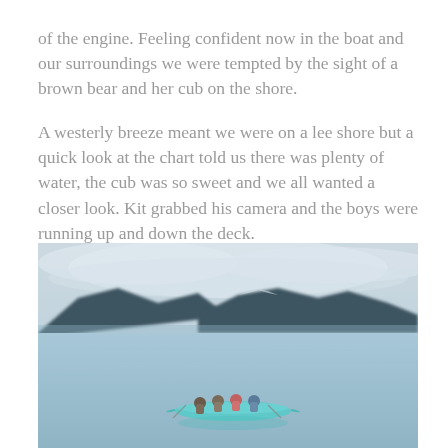of the engine. Feeling confident now in the boat and our surroundings we were tempted by the sight of a brown bear and her cub on the shore.

A westerly breeze meant we were on a lee shore but a quick look at the chart told us there was plenty of water, the cub was so sweet and we all wanted a closer look. Kit grabbed his camera and the boys were running up and down the deck.
[Figure (photo): A group of people paddling a turquoise kayak on calm water with misty mountains in the background under an overcast sky.]